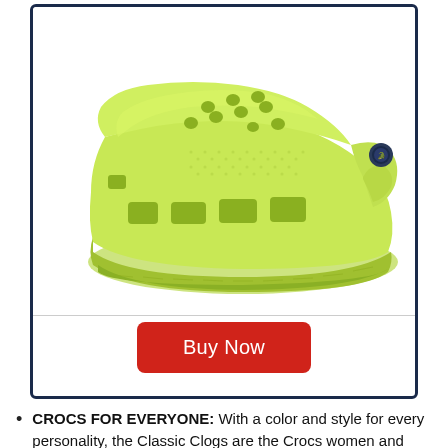[Figure (photo): A lime green Crocs Classic Clog shoe photographed against a white background, shown from a side-front angle. The distinctive Crospite foam clog features ventilation holes on top, the Crocs logo rivet badge on the strap, and textured sole.]
Buy Now
CROCS FOR EVERYONE: With a color and style for every personality, the Classic Clogs are the Crocs women and men